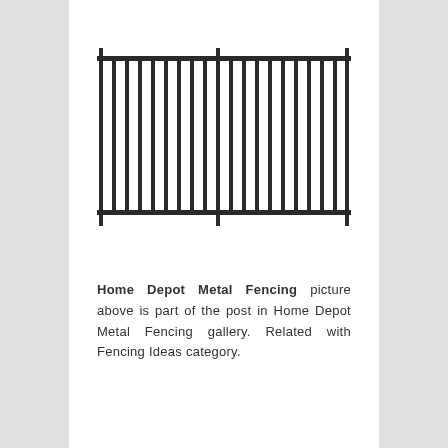[Figure (illustration): Illustration of a metal fence panel with vertical bars and two horizontal rails at top and bottom, drawn in black outline style.]
Home Depot Metal Fencing picture above is part of the post in Home Depot Metal Fencing gallery. Related with Fencing Ideas category.